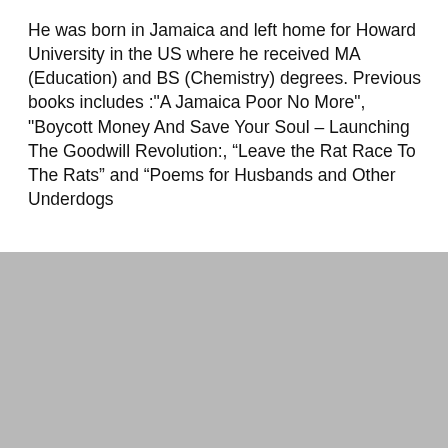He was born in Jamaica and left home for Howard University in the US where he received MA (Education) and BS (Chemistry) degrees. Previous books includes :"A Jamaica Poor No More", "Boycott Money And Save Your Soul – Launching The Goodwill Revolution:, “Leave the Rat Race To The Rats” and “Poems for Husbands and Other Underdogs